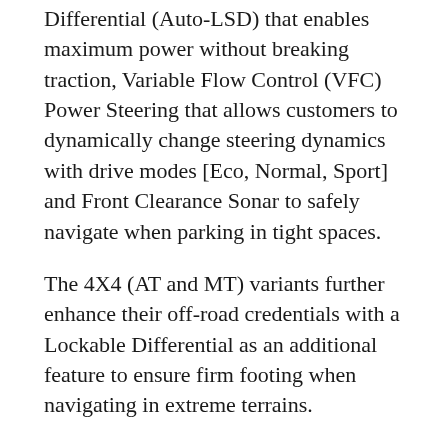Differential (Auto-LSD) that enables maximum power without breaking traction, Variable Flow Control (VFC) Power Steering that allows customers to dynamically change steering dynamics with drive modes [Eco, Normal, Sport] and Front Clearance Sonar to safely navigate when parking in tight spaces.
The 4X4 (AT and MT) variants further enhance their off-road credentials with a Lockable Differential as an additional feature to ensure firm footing when navigating in extreme terrains.
The new toyota fortuner will be available in existing colours of Phantom Brown, Super White, Attitude Black, Avant-Garde Bronze, Grey